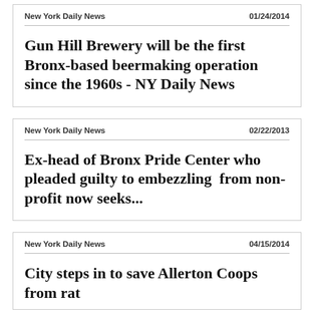New York Daily News | 01/24/2014
Gun Hill Brewery will be the first Bronx-based beermaking operation since the 1960s - NY Daily News
New York Daily News | 02/22/2013
Ex-head of Bronx Pride Center who pleaded guilty to embezzling  from non-profit now seeks...
New York Daily News | 04/15/2014
City steps in to save Allerton Coops from rat